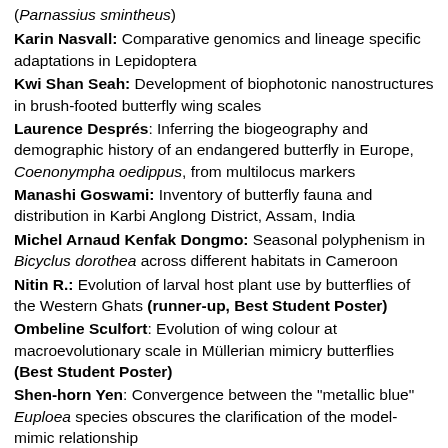(Parnassius smintheus)
Karin Nasvall: Comparative genomics and lineage specific adaptations in Lepidoptera
Kwi Shan Seah: Development of biophotonic nanostructures in brush-footed butterfly wing scales
Laurence Després: Inferring the biogeography and demographic history of an endangered butterfly in Europe, Coenonympha oedippus, from multilocus markers
Manashi Goswami: Inventory of butterfly fauna and distribution in Karbi Anglong District, Assam, India
Michel Arnaud Kenfak Dongmo: Seasonal polyphenism in Bicyclus dorothea across different habitats in Cameroon
Nitin R.: Evolution of larval host plant use by butterflies of the Western Ghats (runner-up, Best Student Poster)
Ombeline Sculfort: Evolution of wing colour at macroevolutionary scale in Müllerian mimicry butterflies (Best Student Poster)
Shen-horn Yen: Convergence between the "metallic blue" Euploea species obscures the clarification of the model-mimic relationship
Tatsuro Konagaya: Effect of mating on survival of diapause females at low temperature in the Japanese common grass yellow